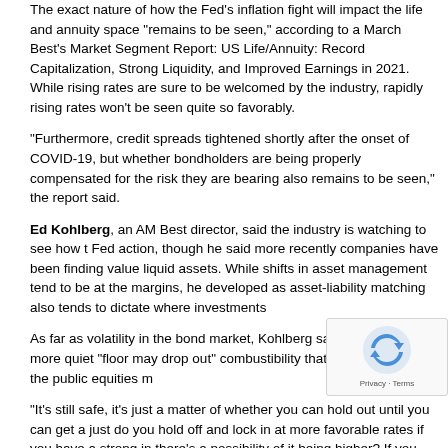The exact nature of how the Fed's inflation fight will impact the life and annuity space "remains to be seen," according to a March Best's Market Segment Report: US Life/Annuity: Record Capitalization, Strong Liquidity, and Improved Earnings in 2021. While rising rates are sure to be welcomed by the industry, rapidly rising rates won't be seen quite so favorably.
"Furthermore, credit spreads tightened shortly after the onset of COVID-19, but whether bondholders are being properly compensated for the risk they are bearing also remains to be seen," the report said.
Ed Kohlberg, an AM Best director, said the industry is watching to see how the Fed action, though he said more recently companies have been finding value in less liquid assets. While shifts in asset management tend to be at the margins, he developed as asset-liability matching also tends to dictate where investments...
As far as volatility in the bond market, Kohlberg said that typically more quiet "floor may drop out" combustibility that can take place in the public equities m...
"It's still safe, it's just a matter of whether you can hold out until you can get a just do you hold off and lock in at more favorable rates if you have a strong in there's a possibility of it being higher? If you can hold off, it might... used floated rate bonds in their portfolios, which helps to somewh...
Any changes are taking place more so on the liabilities side of the ledger, Koh...